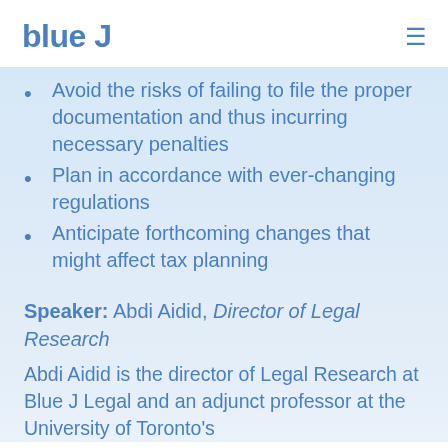blue J
Avoid the risks of failing to file the proper documentation and thus incurring necessary penalties
Plan in accordance with ever-changing regulations
Anticipate forthcoming changes that might affect tax planning
Speaker: Abdi Aidid, Director of Legal Research
Abdi Aidid is the director of Legal Research at Blue J Legal and an adjunct professor at the University of Toronto's